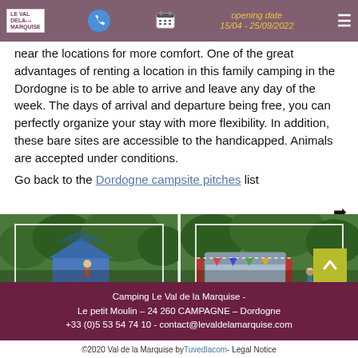Le Val de la Marquise | Opening dates 15/04 - 25/09/2022
near the locations for more comfort. One of the great advantages of renting a location in this family camping in the Dordogne is to be able to arrive and leave any day of the week. The days of arrival and departure being free, you can perfectly organize your stay with more flexibility. In addition, these bare sites are accessible to the handicapped. Animals are accepted under conditions.
Go back to the Dordogne campsite pitches list
[Figure (photo): Campsite pitch with families and children playing outdoors, tents visible, labeled PRIVILEGE SITE]
[Figure (photo): Campsite comfort pitch with families outdoors, labeled COMFORT]
Camping Le Val de la Marquise - Le petit Moulin – 24 260 CAMPAGNE – Dordogne +33 (0)5 53 54 74 10 - contact@levaldelamarquise.com
©2020 Val de la Marquise by Tuvedlacom - Legal Notice